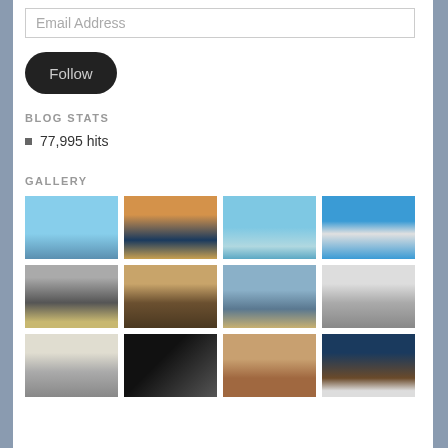Email Address
Follow
BLOG STATS
77,995 hits
GALLERY
[Figure (photo): Row 1: four sailing/boat photos - marina calm water, marina at dusk with light, catamaran on turquoise water, sailboat cockpit]
[Figure (photo): Row 2: four boat photos - catamaran at dock, interior cabin with people, marina with multiple boats, navigation equipment]
[Figure (photo): Row 3: four photos - boat under cover, rigging ropes detail, person inside cabin, person with decorative item]